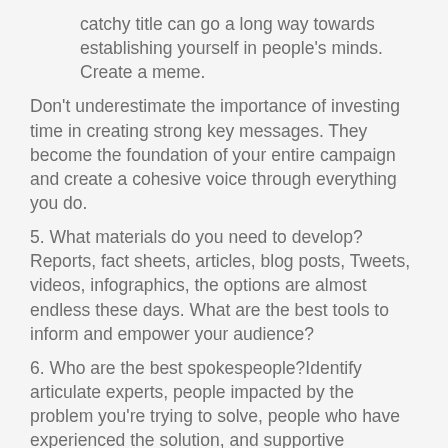catchy title can go a long way towards establishing yourself in people's minds. Create a meme.
Don't underestimate the importance of investing time in creating strong key messages. They become the foundation of your entire campaign and create a cohesive voice through everything you do.
5. What materials do you need to develop? Reports, fact sheets, articles, blog posts, Tweets, videos, infographics, the options are almost endless these days. What are the best tools to inform and empower your audience?
6. Who are the best spokespeople?Identify articulate experts, people impacted by the problem you're trying to solve, people who have experienced the solution, and supportive influencers. Be thoughtful and consider how your target audience might respond to your spokespeople and whether or not